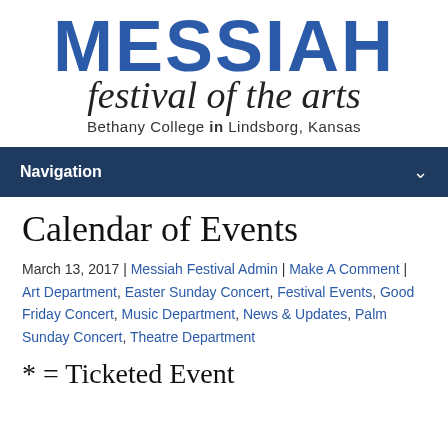[Figure (logo): Messiah Festival of the Arts logo with bold blue MESSIAH text, cursive 'festival of the arts' script, and subtitle 'Bethany College in Lindsborg, Kansas']
Navigation
Calendar of Events
March 13, 2017 | Messiah Festival Admin | Make A Comment | Art Department, Easter Sunday Concert, Festival Events, Good Friday Concert, Music Department, News & Updates, Palm Sunday Concert, Theatre Department
* = Ticketed Event